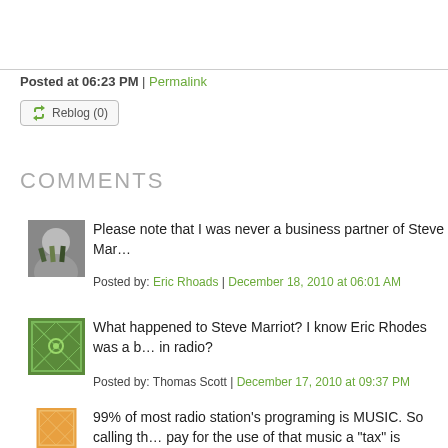Posted at 06:23 PM | Permalink
Reblog (0)
COMMENTS
Please note that I was never a business partner of Steve Mar…
Posted by: Eric Rhoads | December 18, 2010 at 06:01 AM
What happened to Steve Marriot? I know Eric Rhodes was a b… in radio?
Posted by: Thomas Scott | December 17, 2010 at 09:37 PM
99% of most radio station's programing is MUSIC. So calling th… pay for the use of that music a "tax" is misleading at best - mo…